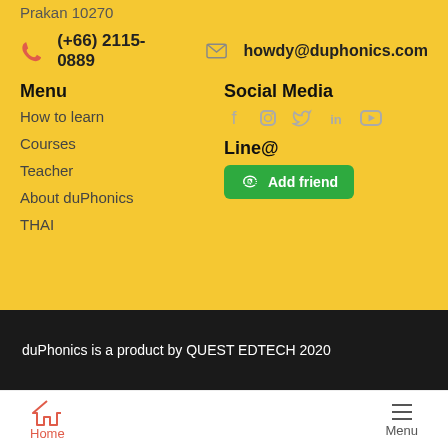Prakan 10270
(+66) 2115-0889   howdy@duphonics.com
Menu
How to learn
Courses
Teacher
About duPhonics
THAI
Social Media
[Figure (infographic): Social media icons: Facebook, Instagram, Twitter, LinkedIn, YouTube]
Line@
Add friend
duPhonics is a product by QUEST EDTECH 2020
Home
Menu